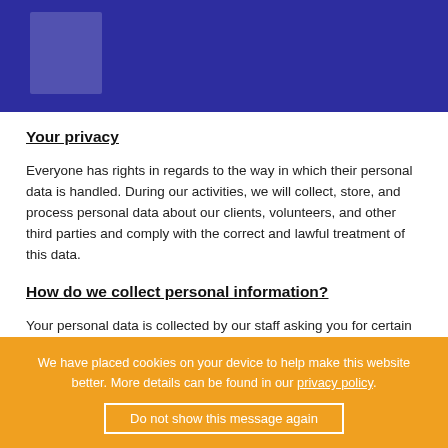Your privacy
Everyone has rights in regards to the way in which their personal data is handled. During our activities, we will collect, store, and process personal data about our clients, volunteers, and other third parties and comply with the correct and lawful treatment of this data.
How do we collect personal information?
Your personal data is collected by our staff asking you for certain information when you wish to access our
We have placed cookies on your device to help make this website better. More details can be found in our privacy policy.
Do not show this message again